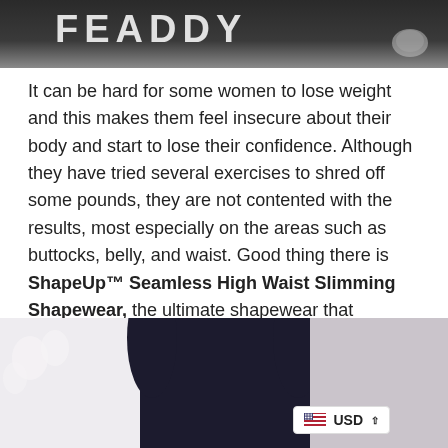[Figure (photo): Top portion of a product/brand image with white text letters partially visible against a dark background, with a small icon in the bottom right corner]
It can be hard for some women to lose weight and this makes them feel insecure about their body and start to lose their confidence. Although they have tried several exercises to shred off some pounds, they are not contented with the results, most especially on the areas such as buttocks, belly, and waist. Good thing there is ShapeUp™ Seamless High Waist Slimming Shapewear, the ultimate shapewear that tightens the flesh, helps you control your tummy size and shapes up your buttocks, tummy, and waist to look firmer and sexier.
[Figure (photo): Bottom portion showing a woman wearing dark navy/black shapewear (sports bra and high waist shorts) against a light background with flowers. A currency selector badge showing USD is visible in the lower right.]